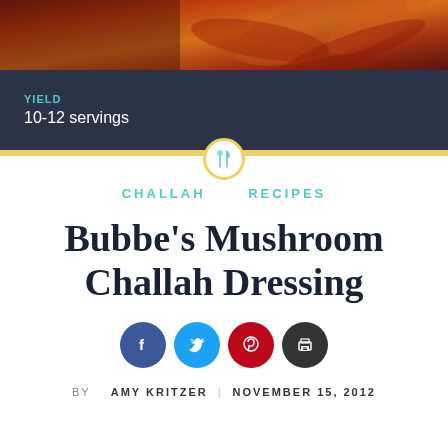[Figure (photo): Food photo banner showing autumn colored bread or challah in warm red and orange tones]
YIELD
10-12 servings
CHALLAH    RECIPES
Bubbe's Mushroom Challah Dressing
[Figure (infographic): Social sharing buttons: Facebook, Twitter, Pinterest, Print]
BY  AMY KRITZER  |  NOVEMBER 15, 2012